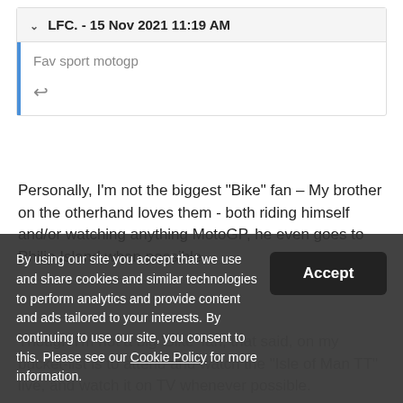▾ LFC. - 15 Nov 2021 11:19 AM
Fav sport motogp
Personally, I'm not the biggest "Bike" fan – My brother on the otherhand loves them - both riding himself and/or watching anything MotoGP, he even goes to Philip Island when possible.
Though I'm not a big 'Bike' fan, that said, on my bucket-list is to attend and watch the "Isle of Man TT" live, and watch it on TV whenever possible.
By using our site you accept that we use and share cookies and similar technologies to perform analytics and provide content and ads tailored to your interests. By continuing to use our site, you consent to this. Please see our Cookie Policy for more information.